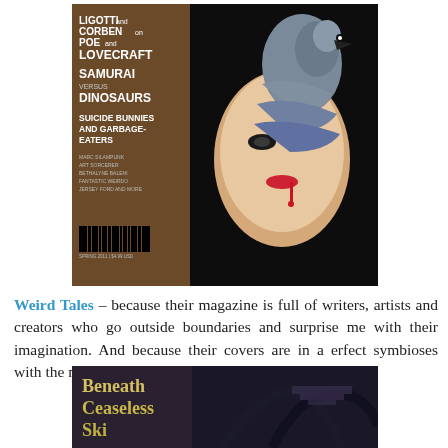[Figure (illustration): Cover of Weird Tales magazine featuring a pale woman with dark eye makeup and red lips, a large gray raven perched on her head/shoulder, and dark atmospheric background. Left brown panel lists: LIGOTTI and CORBEN on POE and LOVECRAFT, SAMURAI VERSUS DINOSAURS, SUICIDE BUNNIES AND GARBAGE-EATERS, plus contributor names and barcode.]
Weird Tales – because their magazine is full of writers, artists and creators who go outside boundaries and surprise me with their imagination. And because their covers are in a erfect symbioses with the magazine.
[Figure (illustration): Partial cover of a book or magazine titled 'Beneath Ceaseless Skies' with gold/yellow text on dark fantasy background with tentacle/creature imagery and architectural elements.]